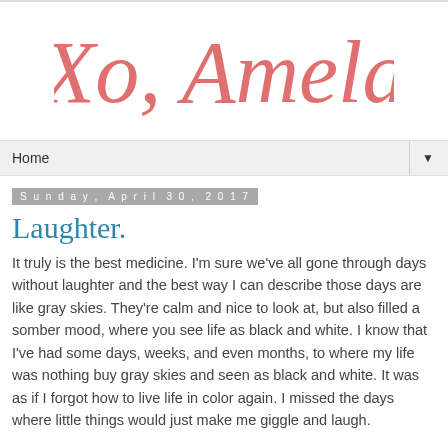[Figure (logo): Cursive script logo reading 'Xo, Amela' in salmon/coral color]
Home ▼
Sunday, April 30, 2017
Laughter.
It truly is the best medicine. I'm sure we've all gone through days without laughter and the best way I can describe those days are like gray skies. They're calm and nice to look at, but also filled a somber mood, where you see life as black and white. I know that I've had some days, weeks, and even months, to where my life was nothing buy gray skies and seen as black and white. It was as if I forgot how to live life in color again. I missed the days where little things would just make me giggle and laugh.